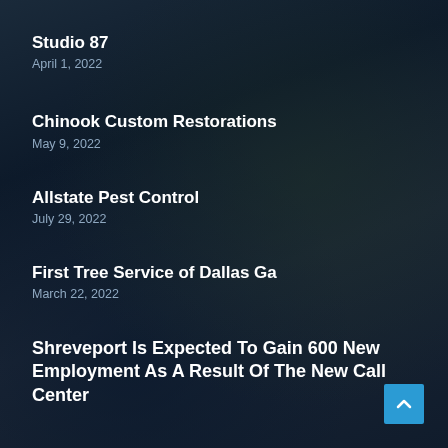Studio 87
April 1, 2022
Chinook Custom Restorations
May 9, 2022
Allstate Pest Control
July 29, 2022
First Tree Service of Dallas Ga
March 22, 2022
Shreveport Is Expected To Gain 600 New Employment As A Result Of The New Call Center